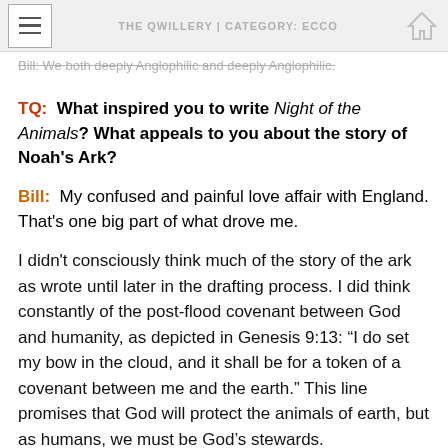THE QWILLERY | CATEGORY: ECCO
Bill:  We both deeply Anglophilic and deeply Anglophilic.
TQ:  What inspired you to write Night of the Animals? What appeals to you about the story of Noah's Ark?
Bill:  My confused and painful love affair with England. That's one big part of what drove me.
I didn't consciously think much of the story of the ark as wrote until later in the drafting process. I did think constantly of the post-flood covenant between God and humanity, as depicted in Genesis 9:13: “I do set my bow in the cloud, and it shall be for a token of a covenant between me and the earth.” This line promises that God will protect the animals of earth, but as humans, we must be God’s stewards.